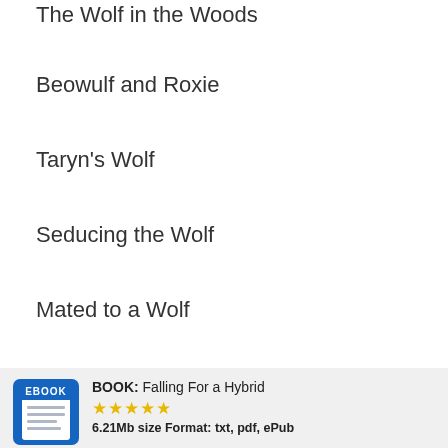The Wolf in the Woods
Beowulf and Roxie
Taryn's Wolf
Seducing the Wolf
Mated to a Wolf
His She-Wolf Warrior
BOOK: Falling For a Hybrid ★★★★★ 6.21Mb size Format: txt, pdf, ePub